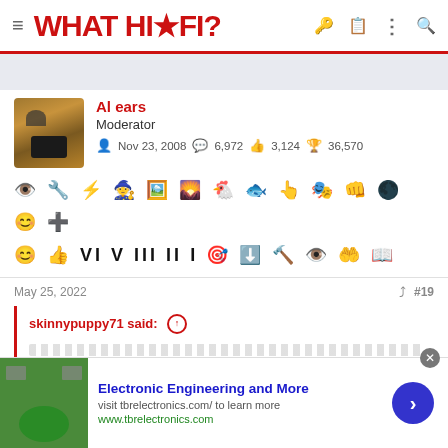WHAT HI*FI?
Al ears
Moderator
Nov 23, 2008  6,972  3,124  36,570
[Figure (infographic): Row of forum achievement badges and icons]
May 25, 2022  #19
skinnypuppy71 said: ↑
[Figure (infographic): Bottom advertisement banner for tbrelectronics.com - Electronic Engineering and More]